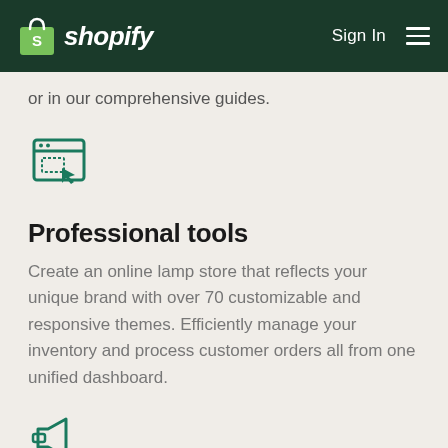shopify — Sign In [menu]
or in our comprehensive guides.
[Figure (illustration): Icon of a browser window with a cursor/pointer indicating interactive UI selection]
Professional tools
Create an online lamp store that reflects your unique brand with over 70 customizable and responsive themes. Efficiently manage your inventory and process customer orders all from one unified dashboard.
[Figure (illustration): Icon of a megaphone/bullhorn]